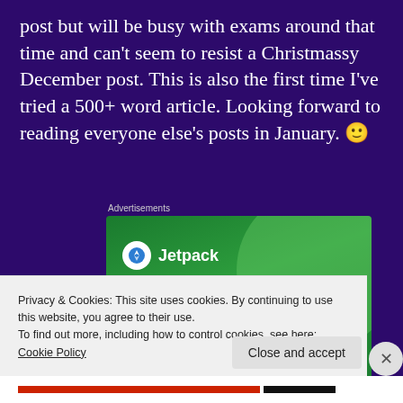post but will be busy with exams around that time and can't seem to resist a Christmassy December post. This is also the first time I've tried a 500+ word article. Looking forward to reading everyone else's posts in January. 🙂
Advertisements
[Figure (screenshot): Jetpack advertisement banner on green background showing 'The best real-time WordPress backu...' with Jetpack logo]
Privacy & Cookies: This site uses cookies. By continuing to use this website, you agree to their use.
To find out more, including how to control cookies, see here: Cookie Policy
Close and accept